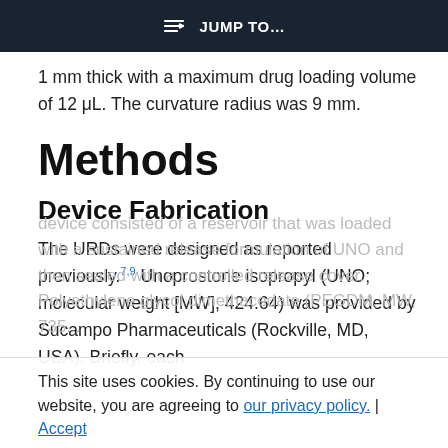JUMP TO...
1 mm thick with a maximum drug loading volume of 12 μL. The curvature radius was 9 mm.
Methods
Device Fabrication
The URDs were designed as reported previously.7,9 Unoprostone isopropyl (UNO; molecular weight [MW], 424.64) was provided by Sucampo Pharmaceuticals (Rockville, MD, USA). Briefly, each device consisted of a reservoir that was loaded with a sustained release formulation of UNO and then sealed with a controlled release cover. Polyethylene glycol dimethacedate (PEGDM, MW, 735...
This site uses cookies. By continuing to use our website, you are agreeing to our privacy policy. Accept